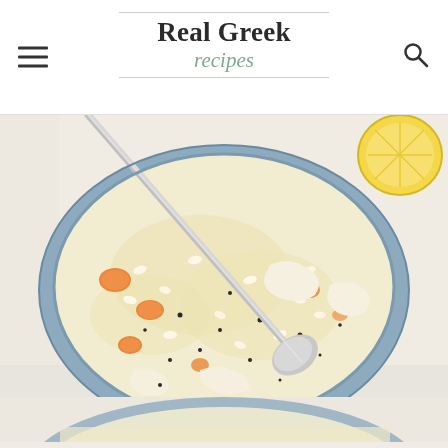Real Greek recipes
[Figure (photo): Close-up overhead photo of a blue bowl filled with creamy avgolemono chicken rice soup with carrots and black pepper, with a silver spoon in the bowl and a lemon half visible in the upper right corner on a white marble surface]
[Figure (photo): Partial view of a second bowl of the same creamy soup at the bottom of the page]